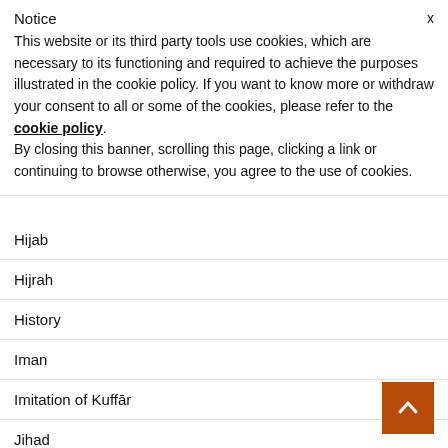Notice
This website or its third party tools use cookies, which are necessary to its functioning and required to achieve the purposes illustrated in the cookie policy. If you want to know more or withdraw your consent to all or some of the cookies, please refer to the cookie policy. By closing this banner, scrolling this page, clicking a link or continuing to browse otherwise, you agree to the use of cookies.
Hijab
Hijrah
History
Iman
Imitation of Kuffār
Jihad
Kitāb at-Tawheed